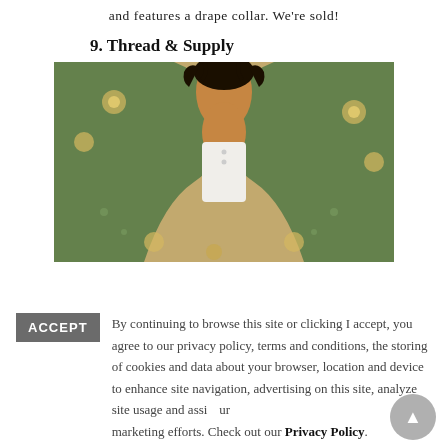and features a drape collar. We're sold!
9. Thread & Supply
[Figure (photo): Close-up photo of a woman wearing a green and yellow floral teddy/sherpa coat with a green drape collar over a white top.]
ACCEPT  By continuing to browse this site or clicking I accept, you agree to our privacy policy, terms and conditions, the storing of cookies and data about your browser, location and device to enhance site navigation, advertising on this site, analyze site usage and assist our marketing efforts. Check out our Privacy Policy.